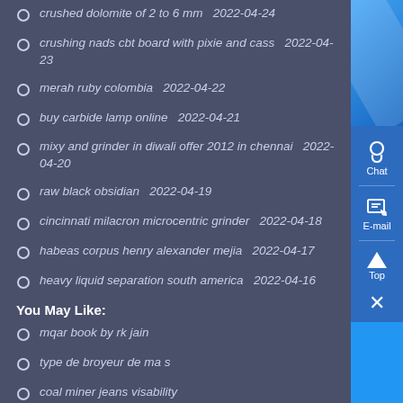crushed dolomite of 2 to 6 mm  2022-04-24
crushing nads cbt board with pixie and cass  2022-04-23
merah ruby colombia  2022-04-22
buy carbide lamp online  2022-04-21
mixy and grinder in diwali offer 2012 in chennai  2022-04-20
raw black obsidian  2022-04-19
cincinnati milacron microcentric grinder  2022-04-18
habeas corpus henry alexander mejia  2022-04-17
heavy liquid separation south america  2022-04-16
You May Like:
mqar book by rk jain
type de broyeur de ma s
coal miner jeans visability